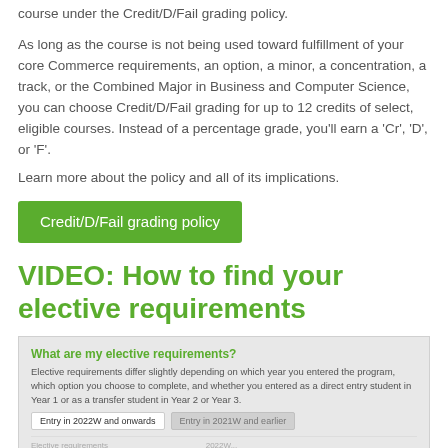course under the Credit/D/Fail grading policy.
As long as the course is not being used toward fulfillment of your core Commerce requirements, an option, a minor, a concentration, a track, or the Combined Major in Business and Computer Science, you can choose Credit/D/Fail grading for up to 12 credits of select, eligible courses. Instead of a percentage grade, you'll earn a 'Cr', 'D', or 'F'.
Learn more about the policy and all of its implications.
Credit/D/Fail grading policy
VIDEO: How to find your elective requirements
What are my elective requirements?
Elective requirements differ slightly depending on which year you entered the program, which option you choose to complete, and whether you entered as a direct entry student in Year 1 or as a transfer student in Year 2 or Year 3.
Entry in 2022W and onwards  Entry in 2021W and earlier